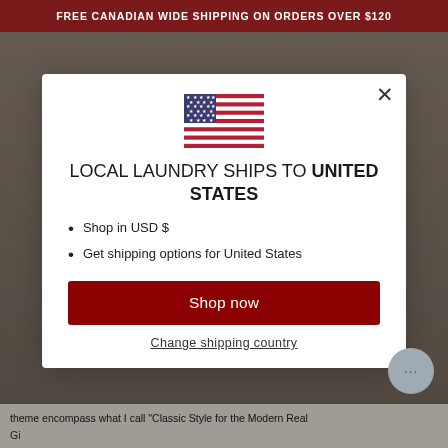FREE CANADIAN WIDE SHIPPING ON ORDERS OVER $120
[Figure (screenshot): Modal dialog with US flag, shipping country selector for United States, with Shop now button and Change shipping country link]
LOCAL LAUNDRY SHIPS TO UNITED STATES
Shop in USD $
Get shipping options for United States
Shop now
Change shipping country
theme encompass what I call "Classic Style for the Modern Real